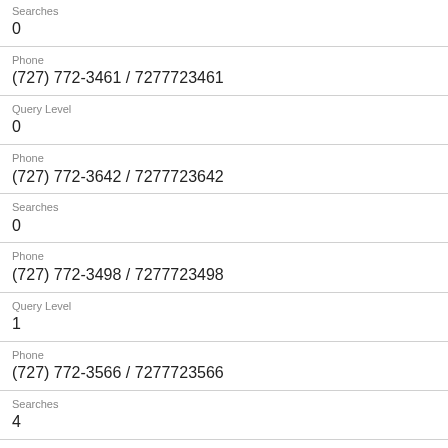Searches
0
Phone
(727) 772-3461 / 7277723461
Query Level
0
Phone
(727) 772-3642 / 7277723642
Searches
0
Phone
(727) 772-3498 / 7277723498
Query Level
1
Phone
(727) 772-3566 / 7277723566
Searches
4
Phone